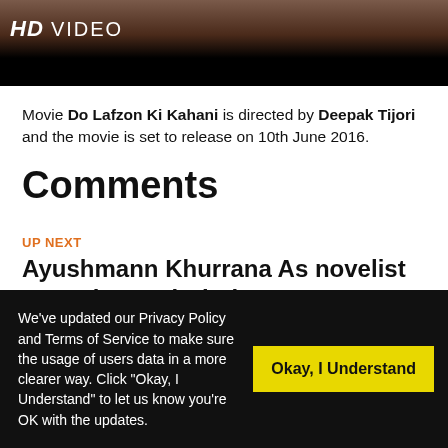[Figure (screenshot): HD VIDEO banner with brownish/dark background showing partial movie image with HD VIDEO text overlay and black bar below]
Movie Do Lafzon Ki Kahani is directed by Deepak Tijori and the movie is set to release on 10th June 2016.
Comments
UP NEXT
Ayushmann Khurrana As novelist In Meri Pyaari Bindu
DON'T MISS
We've updated our Privacy Policy and Terms of Service to make sure the usage of users data in a more clearer way. Click "Okay, I Understand" to let us know you're OK with the updates.